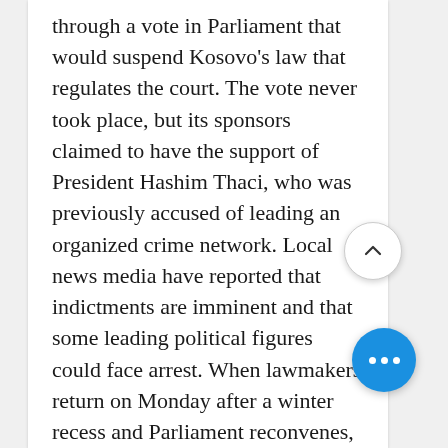through a vote in Parliament that would suspend Kosovo's law that regulates the court. The vote never took place, but its sponsors claimed to have the support of President Hashim Thaci, who was previously accused of leading an organized crime network. Local news media have reported that indictments are imminent and that some leading political figures could face arrest. When lawmakers return on Monday after a winter recess and Parliament reconvenes, the United States, the European Union and other Western allies will be watching.
The court is viewed by world powers as a vital prerequisite for regional reconciliation in the aftermath of the